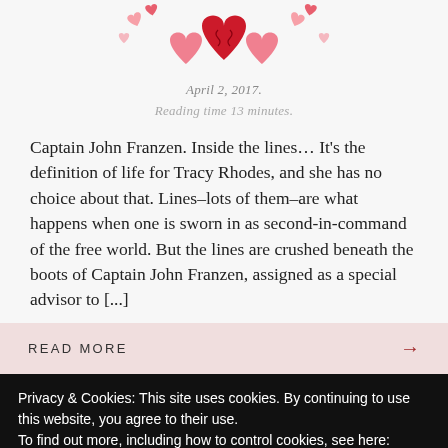[Figure (illustration): Decorative hearts illustration in red and pink tones at the top center of the page]
April 2, 2017.
Reading time 13 minutes.
Captain John Franzen. Inside the lines… It's the definition of life for Tracy Rhodes, and she has no choice about that. Lines–lots of them–are what happens when one is sworn in as second-in-command of the free world. But the lines are crushed beneath the boots of Captain John Franzen, assigned as a special advisor to [...]
READ MORE →
Privacy & Cookies: This site uses cookies. By continuing to use this website, you agree to their use.
To find out more, including how to control cookies, see here: Cookie Policy
Close and accept
Follow